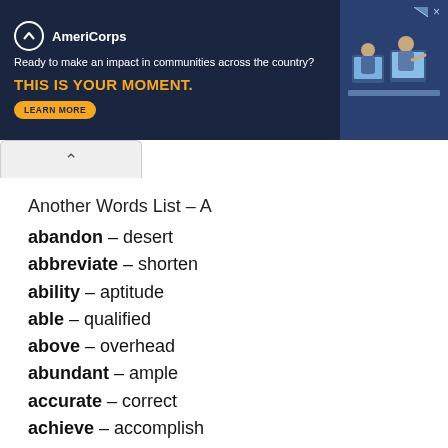[Figure (other): AmeriCorps advertisement banner: dark navy background with logo, tagline 'Ready to make an impact in communities across the country?', headline 'THIS IS YOUR MOMENT.', a 'LEARN MORE' button, and a photo of students at computers on the right.]
Another Words List – A
abandon – desert
abbreviate – shorten
ability – aptitude
able – qualified
above – overhead
abundant – ample
accurate – correct
achieve – accomplish
adjourn – recess
advocate – support